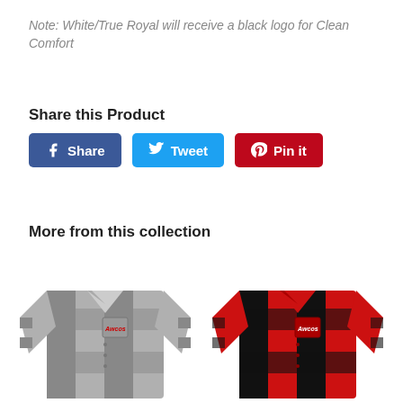Note: White/True Royal will receive a black logo for Clean Comfort
Share this Product
Share | Tweet | Pin it
More from this collection
[Figure (photo): Gray/black plaid flannel shirt with embroidered logo on chest pocket]
[Figure (photo): Red/black plaid flannel shirt with embroidered logo on chest pocket]